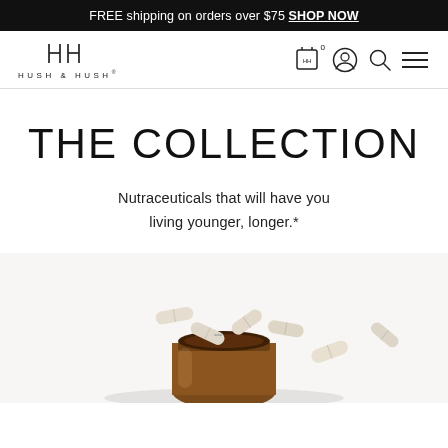FREE shipping on orders over $75 SHOP NOW
[Figure (logo): Hush & Hush brand logo with stylized HH icon and nav icons (cart, account, search, menu)]
THE COLLECTION
Nutraceuticals that will have you living younger, longer.*
[Figure (photo): An amber glass supplement bottle on its side with white capsule pills spilling out, on a light background]